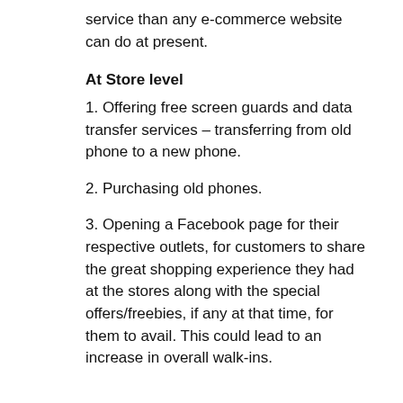service than any e-commerce website can do at present.
At Store level
1. Offering free screen guards and data transfer services – transferring from old phone to a new phone.
2. Purchasing old phones.
3. Opening a Facebook page for their respective outlets, for customers to share the great shopping experience they had at the stores along with the special offers/freebies, if any at that time, for them to avail. This could lead to an increase in overall walk-ins.